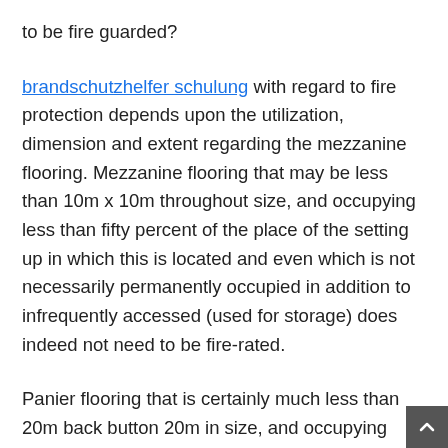to be fire guarded?
brandschutzhelfer schulung with regard to fire protection depends upon the utilization, dimension and extent regarding the mezzanine flooring. Mezzanine flooring that may be less than 10m x 10m throughout size, and occupying less than fifty percent of the place of the setting up in which this is located and even which is not necessarily permanently occupied in addition to infrequently accessed (used for storage) does indeed not need to be fire-rated.
Panier flooring that is certainly much less than 20m back button 20m in size, and occupying much less than 50% involving the area regarding the building throughout which it is usually located and which is not permanently occupied and also infrequently accessed (used for storage) does indeed not need to be fire-rated.